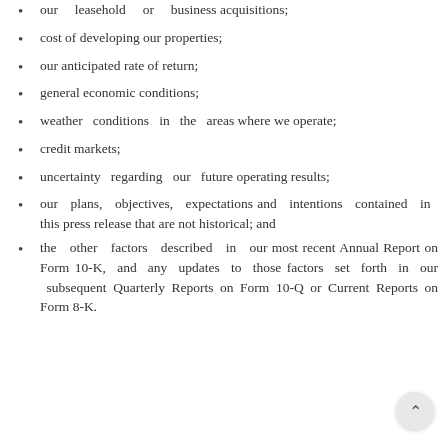our leasehold or business acquisitions;
cost of developing our properties;
our anticipated rate of return;
general economic conditions;
weather conditions in the areas where we operate;
credit markets;
uncertainty regarding our future operating results;
our plans, objectives, expectations and intentions contained in this press release that are not historical; and
the other factors described in our most recent Annual Report on Form 10-K, and any updates to those factors set forth in our subsequent Quarterly Reports on Form 10-Q or Current Reports on Form 8-K.